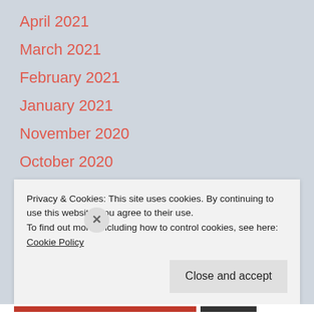April 2021
March 2021
February 2021
January 2021
November 2020
October 2020
August 2020
July 2020
Privacy & Cookies: This site uses cookies. By continuing to use this website, you agree to their use.
To find out more, including how to control cookies, see here: Cookie Policy